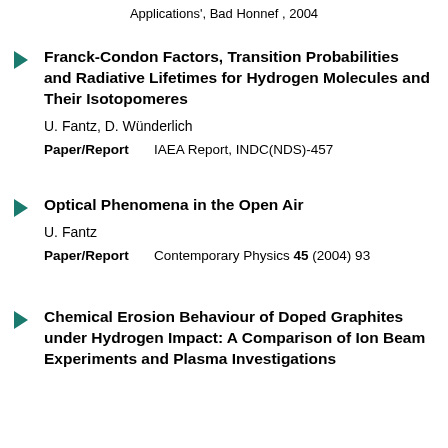Applications', Bad Honnef , 2004
Franck-Condon Factors, Transition Probabilities and Radiative Lifetimes for Hydrogen Molecules and Their Isotopomeres
U. Fantz, D. Wünderlich
Paper/Report   IAEA Report, INDC(NDS)-457
Optical Phenomena in the Open Air
U. Fantz
Paper/Report   Contemporary Physics 45 (2004) 93
Chemical Erosion Behaviour of Doped Graphites under Hydrogen Impact: A Comparison of Ion Beam Experiments and Plasma Investigations